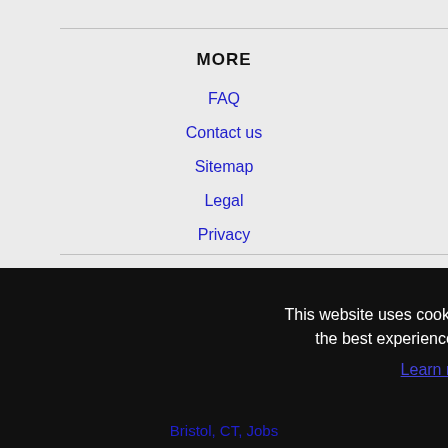MORE
FAQ
Contact us
Sitemap
Legal
Privacy
This website uses cookies to ensure you get the best experience on our website.
Learn more
Got it!
Bristol, CT, Jobs